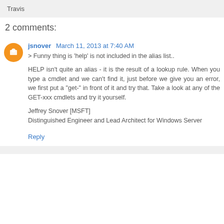Travis
2 comments:
jsnover March 11, 2013 at 7:40 AM
> Funny thing is 'help' is not included in the alias list..

HELP isn't quite an alias - it is the result of a lookup rule. When you type a cmdlet and we can't find it, just before we give you an error, we first put a "get-" in front of it and try that. Take a look at any of the GET-xxx cmdlets and try it yourself.

Jeffrey Snover [MSFT]
Distinguished Engineer and Lead Architect for Windows Server
Reply